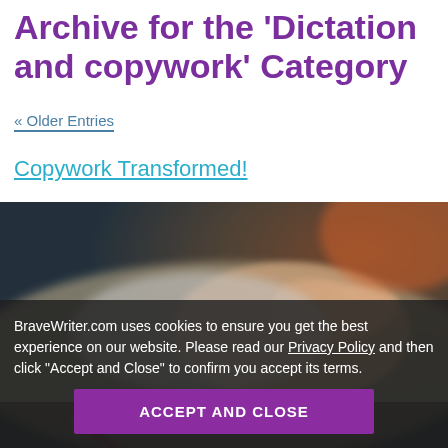Archive for the 'Dictation and copywork' Category
« Older Entries
Copywork Transformed!
[Figure (photo): Close-up photo of a person's hand holding a pencil, writing on paper, with a blurred background.]
BraveWriter.com uses cookies to ensure you get the best experience on our website. Please read our Privacy Policy and then click "Accept and Close" to confirm you accept its terms.
ACCEPT AND CLOSE